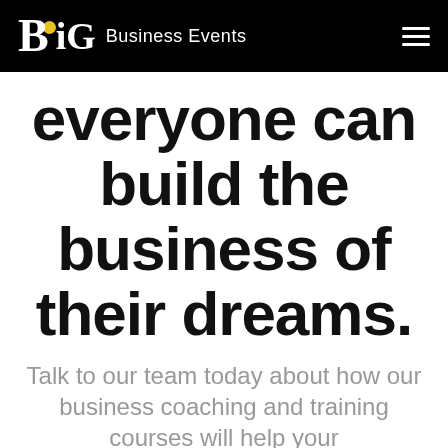BiG Business Events
everyone can build the business of their dreams.
Talk to our team today about how our business coaching and training courses will help your